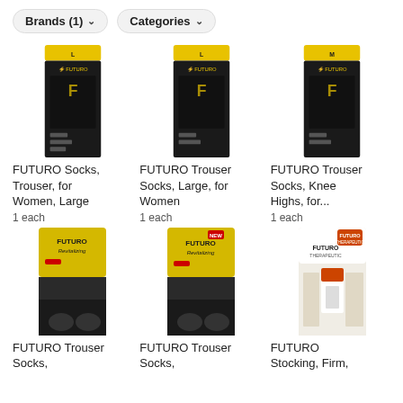Brands (1)  Categories
[Figure (photo): FUTURO Trouser Socks for Women Large product package, black socks in dark packaging with FUTURO logo]
FUTURO Socks, Trouser, for Women, Large
1 each
[Figure (photo): FUTURO Trouser Socks Large for Women product package, black socks in dark packaging with FUTURO logo]
FUTURO Trouser Socks, Large, for Women
1 each
[Figure (photo): FUTURO Trouser Socks Knee Highs product package, black socks in dark packaging with FUTURO logo]
FUTURO Trouser Socks, Knee Highs, for...
1 each
[Figure (photo): FUTURO Revitalizing Trouser Socks product package, yellow and black packaging]
FUTURO Trouser Socks,
[Figure (photo): FUTURO Revitalizing Trouser Socks product package, yellow and black packaging with NEW label]
FUTURO Trouser Socks,
[Figure (photo): FUTURO Therapeutic Open Toe Knee-High Stocking product package, white and orange packaging]
FUTURO Stocking, Firm,